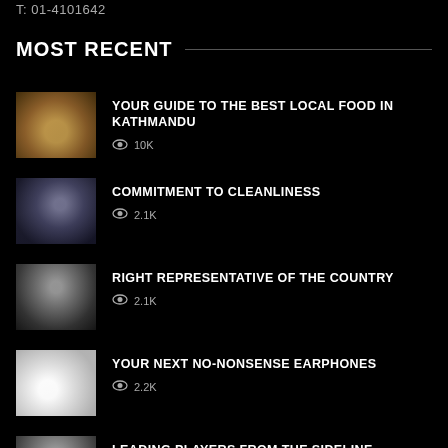T: 01-4101642
MOST RECENT
[Figure (photo): Thumbnail of a pizza or flatbread dish]
YOUR GUIDE TO THE BEST LOCAL FOOD IN KATHMANDU
👁 10K
[Figure (photo): Thumbnail of a hotel room or interior with person]
COMMITMENT TO CLEANLINESS
👁 2.1K
[Figure (photo): Thumbnail of a man in dark jacket]
RIGHT REPRESENTATIVE OF THE COUNTRY
👁 2.1K
[Figure (photo): Thumbnail of wireless earphones on a light surface]
YOUR NEXT NO-NONSENSE EARPHONES
👁 2.2K
[Figure (photo): Thumbnail of a person, partially visible]
LEADING PLAYERS FROM THE SIDELINE